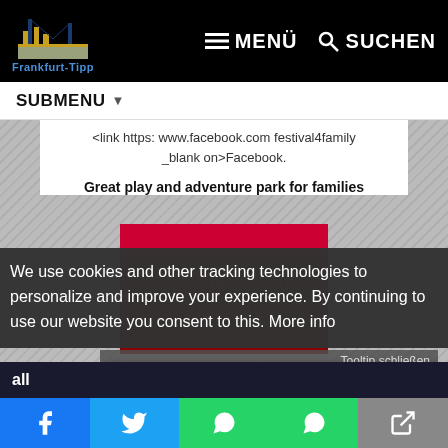[Figure (screenshot): Frankfurt-Tipp website header with logo, MENÜ and SUCHEN navigation buttons on black background]
SUBMENU
<link https: www.facebook.com festival4family _blank on>Facebook.
Great play and adventure park for families
[Figure (photo): Rhein-Main 4family logo on dark red/maroon background with red banner at top]
We use cookies and other tracking technologies to personalize and improve your experience. By continuing to use our website you consent to this. More info
Tooltip schließen
Frankfurt-Tipp auf einen Klick! Einfach auf das Symbol tippen und zum Home-Bildschirm hinzufügen.
all